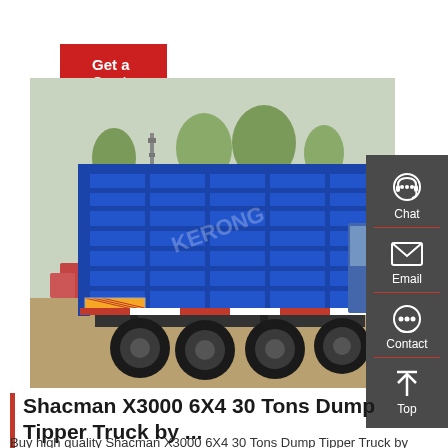Get a Quote
[Figure (photo): Blue Shacman X3000 6X4 dump tipper truck photographed from the rear-left angle, showing large blue dump bed, multiple rear axles with large tires, parked in an outdoor yard with trees and other trucks in the background.]
Chat
Email
Contact
Top
Shacman X3000 6X4 30 Tons Dump Tipper Truck by ...
Buy high quality Shacman X3000 6X4 30 Tons Dump Tipper Truck by Kerong Industrial Co Ltd Supplier...